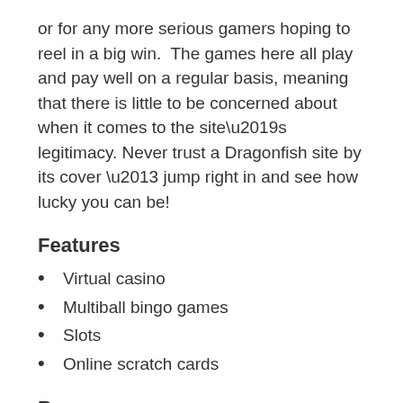or for any more serious gamers hoping to reel in a big win.  The games here all play and pay well on a regular basis, meaning that there is little to be concerned about when it comes to the site’s legitimacy. Never trust a Dragonfish site by its cover – jump right in and see how lucky you can be!
Features
Virtual casino
Multiball bingo games
Slots
Online scratch cards
Bonuses
220% cash matching on your first